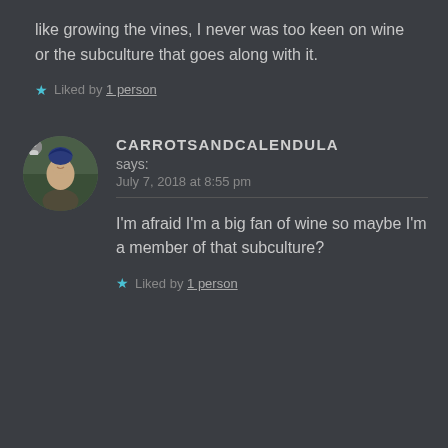like growing the vines, I never was too keen on wine or the subculture that goes along with it.
★ Liked by 1 person
CARROTSANDCALENDULA says: July 7, 2018 at 8:55 pm
I'm afraid I'm a big fan of wine so maybe I'm a member of that subculture?
★ Liked by 1 person